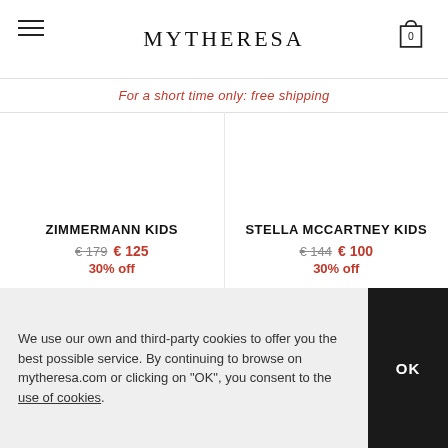MYTHERESA
For a short time only: free shipping
ZIMMERMANN KIDS
€ 179  € 125
30% off
STELLA MCCARTNEY KIDS
€ 144  € 100
30% off
We use our own and third-party cookies to offer you the best possible service. By continuing to browse on mytheresa.com or clicking on "OK", you consent to the use of cookies.